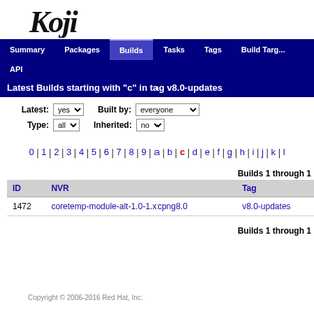[Figure (logo): Koji logo in black stylized text]
Summary | Packages | Builds | Tasks | Tags | Build Targ... | API
Latest Builds starting with "c" in tag v8.0-updates
Latest: yes  Built by: everyone  Type: all  Inherited: no
0 | 1 | 2 | 3 | 4 | 5 | 6 | 7 | 8 | 9 | a | b | c | d | e | f | g | h | i | j | k | l
Builds 1 through 1
| ID | NVR | Tag |
| --- | --- | --- |
| 1472 | coretemp-module-alt-1.0-1.xcpng8.0 | v8.0-updates |
Builds 1 through 1
Copyright © 2006-2016 Red Hat, Inc.